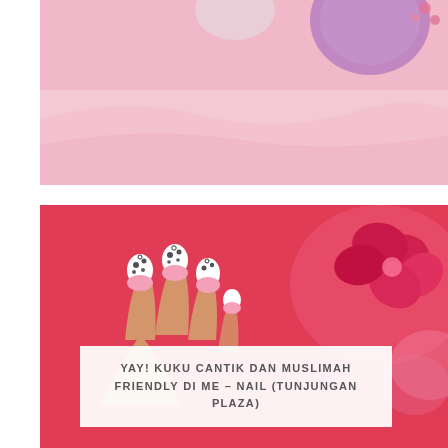[Figure (photo): Top cropped photo showing pink background with purple/lavender beauty products and fabric, partially visible from above]
[Figure (photo): Photo of a hand with decorated nails showing white nail polish with pink tips and small black dot and circle nail art designs, against a hot pink/coral background with a pink flower visible on the right side]
YAY! KUKU CANTIK DAN MUSLIMAH FRIENDLY DI ME – NAIL (TUNJUNGAN PLAZA)